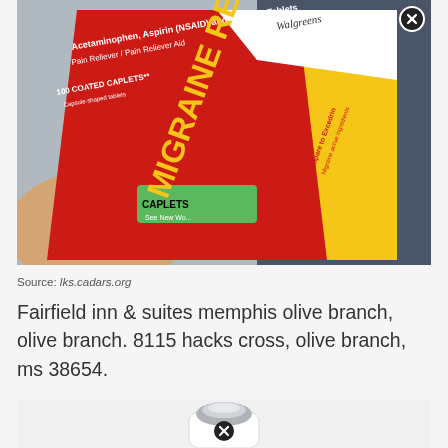[Figure (photo): A hand holding a Walgreens Migraine Relief box — red, yellow, and white packaging showing '100 COATED CAPLETS', 'Acetaminophen, Aspirin (NSAID) and Caffeine Tablets', 'Pain Reliever / Pain Reliever Aid'. A close-up photograph taken from above.]
Source: lks.cadars.org
Fairfield inn & suites memphis olive branch, olive branch. 8115 hacks cross, olive branch, ms 38654.
[Figure (photo): A white cylindrical bottle or container with a silver metallic cap, photographed from above against a white background.]